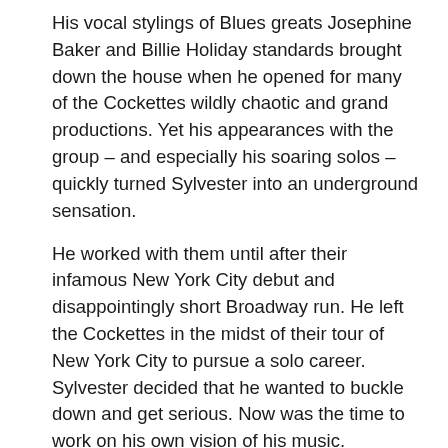His vocal stylings of Blues greats Josephine Baker and Billie Holiday standards brought down the house when he opened for many of the Cockettes wildly chaotic and grand productions. Yet his appearances with the group – and especially his soaring solos – quickly turned Sylvester into an underground sensation.
He worked with them until after their infamous New York City debut and disappointingly short Broadway run. He left the Cockettes in the midst of their tour of New York City to pursue a solo career. Sylvester decided that he wanted to buckle down and get serious. Now was the time to work on his own vision of his music.
Back in San Francisco, a seed had been planted, and Sylvester began to perform solo as the doyenne Ruby Blue, a jazz and soul persona influenced by his grandmother that he'd first assumed with the Cockettes. He played at the Rickshaw Lounge in Chinatown, singing standards by early icons like Ma Rainey, Bessie Smith, and Lena Horne. Ruby came